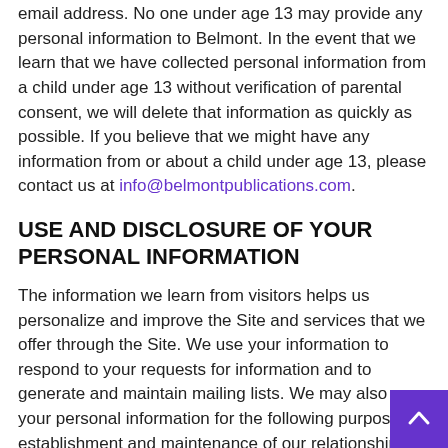email address. No one under age 13 may provide any personal information to Belmont. In the event that we learn that we have collected personal information from a child under age 13 without verification of parental consent, we will delete that information as quickly as possible. If you believe that we might have any information from or about a child under age 13, please contact us at info@belmontpublications.com.
USE AND DISCLOSURE OF YOUR PERSONAL INFORMATION
The information we learn from visitors helps us personalize and improve the Site and services that we offer through the Site. We use your information to respond to your requests for information and to generate and maintain mailing lists. We may also use your personal information for the following purposes: establishment and maintenance of our relationship with you; responding to your requests and inquiries; registering you for programs, events and/or services that you have requested; process, fulfill and follow-up on your